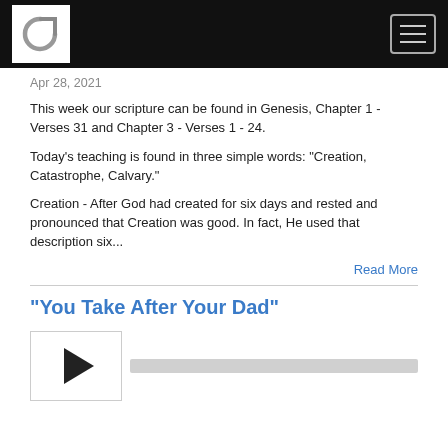G [logo] [menu button]
Apr 28, 2021
This week our scripture can be found in Genesis, Chapter 1 - Verses 31 and Chapter 3 - Verses 1 - 24.
Today's teaching is found in three simple words: "Creation, Catastrophe, Calvary."
Creation - After God had created for six days and rested and pronounced that Creation was good. In fact, He used that description six...
Read More
"You Take After Your Dad"
[Figure (other): Audio player with play button and progress bar]